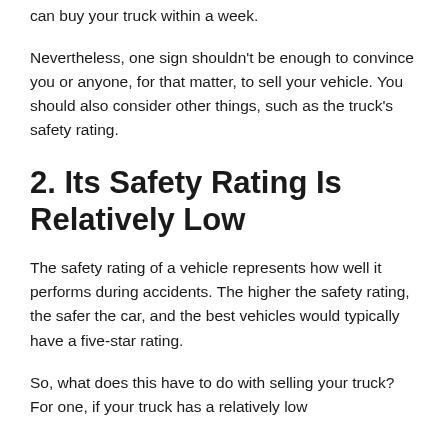can buy your truck within a week.
Nevertheless, one sign shouldn't be enough to convince you or anyone, for that matter, to sell your vehicle. You should also consider other things, such as the truck's safety rating.
2. Its Safety Rating Is Relatively Low
The safety rating of a vehicle represents how well it performs during accidents. The higher the safety rating, the safer the car, and the best vehicles would typically have a five-star rating.
So, what does this have to do with selling your truck? For one, if your truck has a relatively low